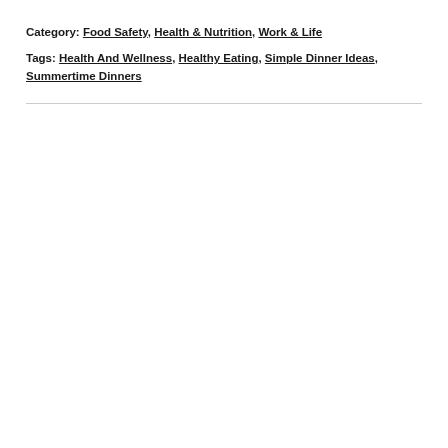Category: Food Safety, Health & Nutrition, Work & Life
Tags: Health And Wellness, Healthy Eating, Simple Dinner Ideas, Summertime Dinners